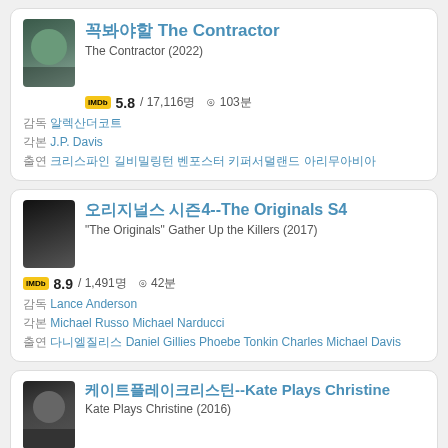[Figure (other): Movie card for The Contractor (2022)]
꼭봐야할 The Contractor
The Contractor (2022)
IMDb 5.8 / 17,116명 ⏱ 103분
감독 알렉산더코트 J.P. Davis
출연 크리스파인 길비밀링턴 벤포스터 키퍼서덜랜드 아리무아비아
[Figure (other): Movie card for The Originals S4 (2017)]
오리지널스 시즌4--The Originals S4
"The Originals" Gather Up the Killers (2017)
IMDb 8.9 / 1,491명 ⏱ 42분
감독 Lance Anderson
각본 Michael Russo Michael Narducci
출연 다니엘질리스 Daniel Gillies Phoebe Tonkin Charles Michael Davis
[Figure (other): Movie card for Kate Plays Christine (2016)]
케이트플레이크리스틴--Kate Plays Christine
Kate Plays Christine (2016)
IMDb 6.3 / 1,106명 ⏱ 112분
감독 Robert Greene
각본 Robert Greene